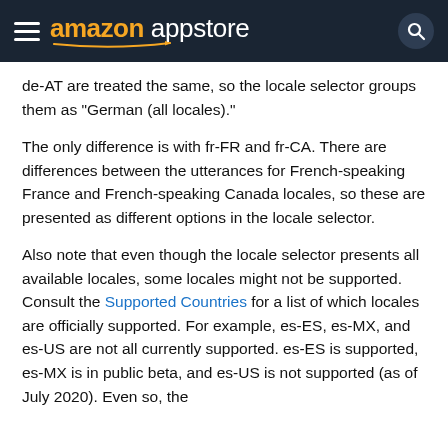amazon appstore
de-AT are treated the same, so the locale selector groups them as "German (all locales)."
The only difference is with fr-FR and fr-CA. There are differences between the utterances for French-speaking France and French-speaking Canada locales, so these are presented as different options in the locale selector.
Also note that even though the locale selector presents all available locales, some locales might not be supported. Consult the Supported Countries for a list of which locales are officially supported. For example, es-ES, es-MX, and es-US are not all currently supported. es-ES is supported, es-MX is in public beta, and es-US is not supported (as of July 2020). Even so, the